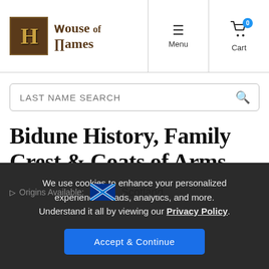House of Names — Menu | Cart (0)
LAST NAME SEARCH
Bidune History, Family Crest & Coats of Arms
Origins Available: Scotland
We use cookies to enhance your personalized experience for ads, analytics, and more. Understand it all by viewing our Privacy Policy.
Accept & Continue